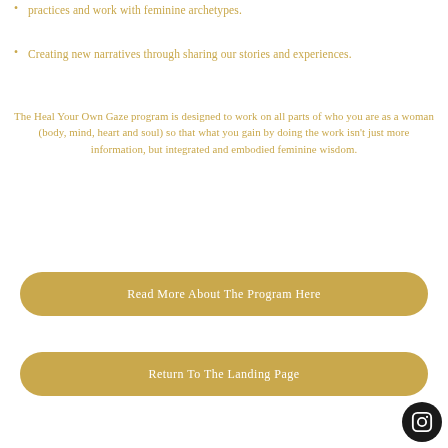practices and work with feminine archetypes.
Creating new narratives through sharing our stories and experiences.
The Heal Your Own Gaze program is designed to work on all parts of who you are as a woman (body, mind, heart and soul) so that what you gain by doing the work isn't just more information, but integrated and embodied feminine wisdom.
Read More About The Program Here
Return To The Landing Page